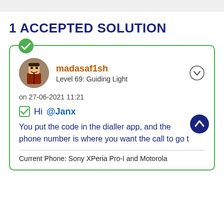1 ACCEPTED SOLUTION
madasaf1sh
Level 69: Guiding Light
on 27-06-2021 11:21

Hi @Janx

You put the code in the dialler app, and the phone number is where you want the call to go t
Current Phone: Sony XPeria Pro-I and Motorola